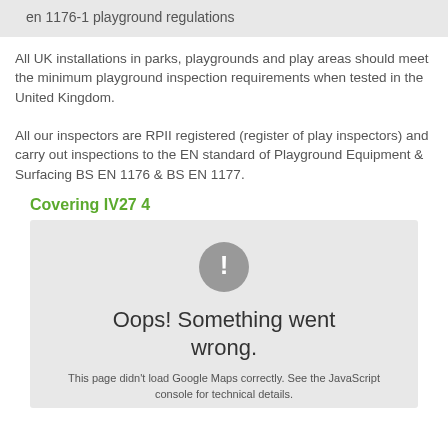en 1176-1 playground regulations
All UK installations in parks, playgrounds and play areas should meet the minimum playground inspection requirements when tested in the United Kingdom.
All our inspectors are RPII registered (register of play inspectors) and carry out inspections to the EN standard of Playground Equipment & Surfacing BS EN 1176 & BS EN 1177.
Covering IV27 4
[Figure (other): Google Maps error box with grey background, exclamation mark icon, 'Oops! Something went wrong.' message, and 'This page didn't load Google Maps correctly. See the JavaScript console for technical details.' sub-message.]